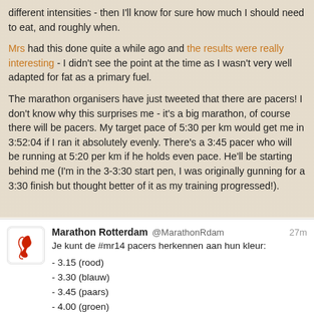different intensities - then I'll know for sure how much I should need to eat, and roughly when.
Mrs had this done quite a while ago and the results were really interesting - I didn't see the point at the time as I wasn't very well adapted for fat as a primary fuel.
The marathon organisers have just tweeted that there are pacers! I don't know why this surprises me - it's a big marathon, of course there will be pacers. My target pace of 5:30 per km would get me in 3:52:04 if I ran it absolutely evenly. There's a 3:45 pacer who will be running at 5:20 per km if he holds even pace. He'll be starting behind me (I'm in the 3-3:30 start pen, I was originally gunning for a 3:30 finish but thought better of it as my training progressed!).
[Figure (screenshot): Tweet from Marathon Rotterdam @MarathonRdam, 27m ago: 'Je kunt de #mr14 pacers herkennen aan hun kleur:' followed by list: - 3.15 (rood), - 3.30 (blauw), - 3.45 (paars), - 4.00 (groen)]